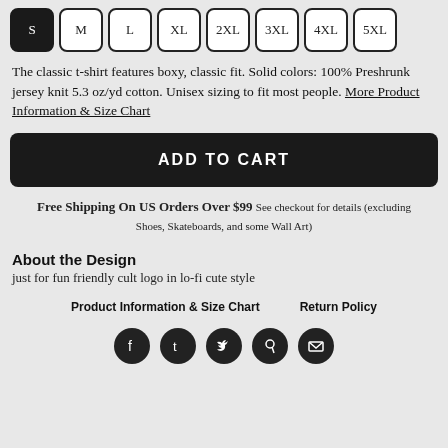S M L XL 2XL 3XL 4XL 5XL (size selector buttons, S selected)
The classic t-shirt features boxy, classic fit. Solid colors: 100% Preshrunk jersey knit 5.3 oz/yd cotton. Unisex sizing to fit most people. More Product Information & Size Chart
ADD TO CART
Free Shipping On US Orders Over $99 See checkout for details (excluding Shoes, Skateboards, and some Wall Art)
About the Design
just for fun friendly cult logo in lo-fi cute style
Product Information & Size Chart   Return Policy
[Figure (other): Social media icons: Facebook, Tumblr, Twitter, Pinterest, Email]